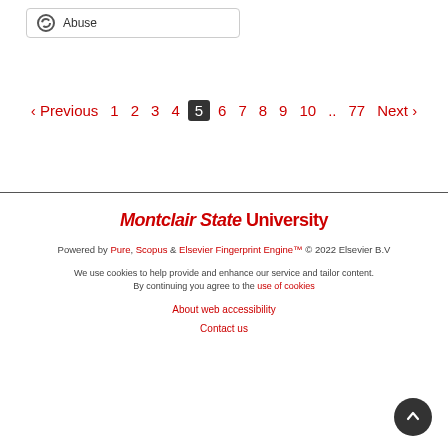Abuse
‹ Previous  1  2  3  4  5  6  7  8  9  10  ..  77  Next ›
Montclair State University
Powered by Pure, Scopus & Elsevier Fingerprint Engine™ © 2022 Elsevier B.V
We use cookies to help provide and enhance our service and tailor content. By continuing you agree to the use of cookies
About web accessibility
Contact us